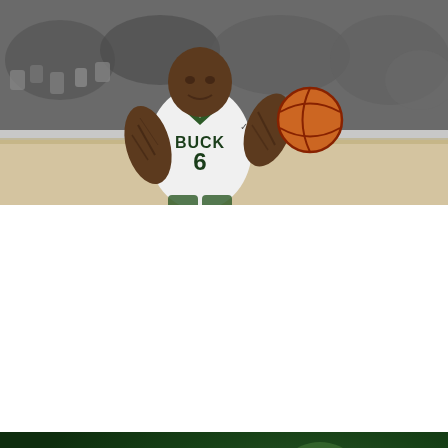[Figure (photo): NBA player Eric Bledsoe wearing Milwaukee Bucks white jersey number 6, dribbling a basketball during a game, crowd visible in background]
[Figure (photo): Milwaukee Bucks welcome graphic with dark green background showing Eric Bledsoe in Bucks uniform. Bold white italic text reads WELCOME TO MILWAUKEE with ERIC BLEDSOE beneath a horizontal line]